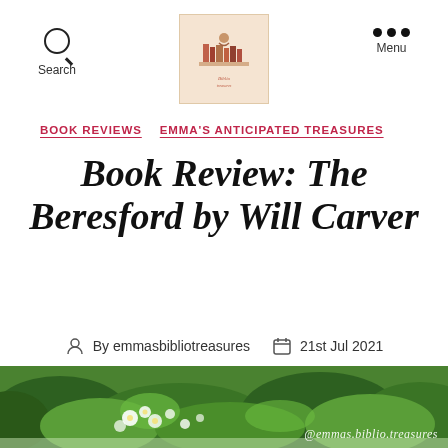Search  Menu
[Figure (logo): Emma's Bibliotheca logo — illustrated figure with books on peachy background]
BOOK REVIEWS   EMMA'S ANTICIPATED TREASURES
Book Review: The Beresford by Will Carver
By emmasbibliotreasures   21st Jul 2021
3 Comments
[Figure (photo): Green leafy garden plants with white flowers, blurred background. Watermark: @emmas.biblio.treasures]